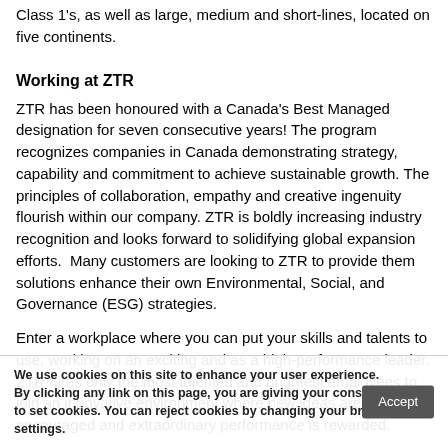Class 1's, as well as large, medium and short-lines, located on five continents.
Working at ZTR
ZTR has been honoured with a Canada's Best Managed designation for seven consecutive years! The program recognizes companies in Canada demonstrating strategy, capability and commitment to achieve sustainable growth. The principles of collaboration, empathy and creative ingenuity flourish within our company. ZTR is boldly increasing industry recognition and looks forward to solidifying global expansion efforts.  Many customers are looking to ZTR to provide them solutions enhance their own Environmental, Social, and Governance (ESG) strategies.
Enter a workplace where you can put your skills and talents to use, working on an exciting and as a high-performance leader. ZTR hires only the most talented and brightest employees to join an innovative environment where new ideas are encouraged and extraordinary performance is rewarded.
We use cookies on this site to enhance your user experience. By clicking any link on this page, you are giving your consent for us to set cookies. You can reject cookies by changing your browser settings.